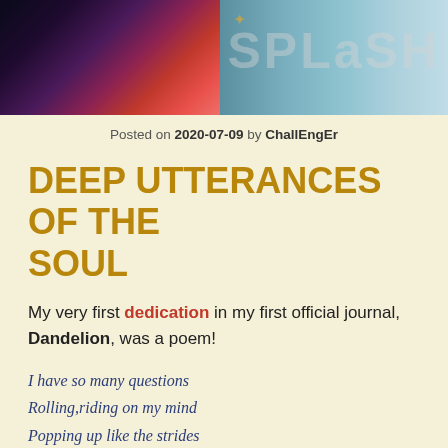[Figure (illustration): Decorative header image with colorful abstract art on the left (dark purples, pinks, reds with figure shapes) and teal/light blue gradient on the right with large semi-transparent text 'SPLASH' and gold star decorations]
Posted on 2020-07-09 by ChallEngEr
DEEP UTTERANCES OF THE SOUL
My very first dedication in my first official journal, Dandelion, was a poem!
I have so many questions
Rolling,riding on my mind
Popping up like the strides
Of the elegant dandelion.